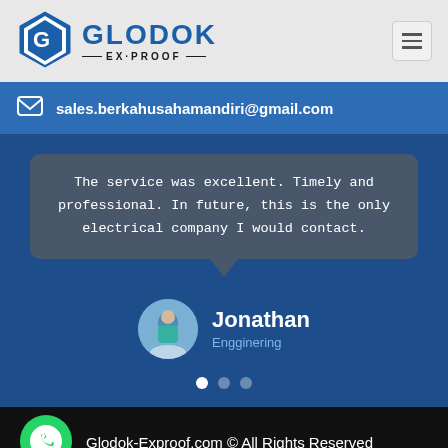[Figure (logo): Glodok Ex-Proof logo with hexagon icon and company name]
sales.berkahusahamandiri@gmail.com
The service was excellent. Timely and professional. In future, this is the only electrical company I would contact.
Jonathan
Engginering
Glodok-Exproof.com © All Rights Reserved